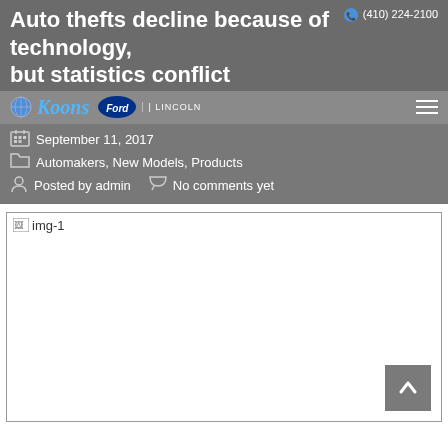Auto thefts decline because of technology, but statistics conflict
(410) 224-2100
[Figure (logo): Koons Ford Lincoln logo with globe icon and Ford oval badge]
September 11, 2017
Automakers, New Models, Products
Posted by admin   No comments yet
[Figure (photo): Broken image placeholder labeled img-1 inside a bordered box]